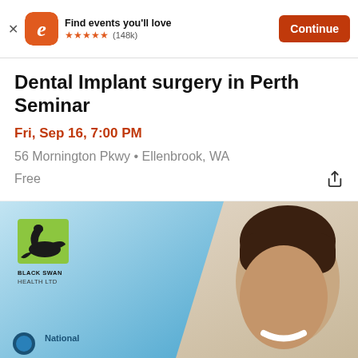Find events you'll love ★★★★★ (148k) Continue
Dental Implant surgery in Perth Seminar
Fri, Sep 16, 7:00 PM
56 Mornington Pkwy • Ellenbrook, WA
Free
[Figure (photo): Event banner image showing Black Swan Health Ltd logo on a blue gradient background with a smiling woman and National text at the bottom]